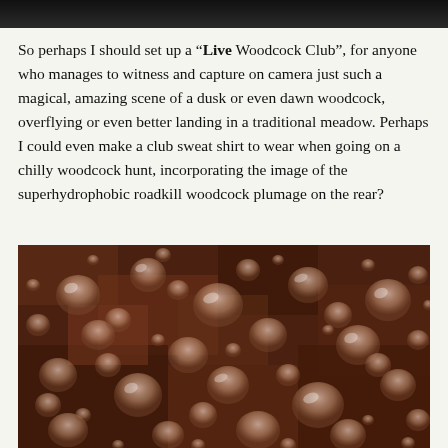[Figure (photo): Dark photograph at the top of the page, showing a dimly lit scene, partially cropped.]
So perhaps I should set up a “Live Woodcock Club”, for anyone who manages to witness and capture on camera just such a magical, amazing scene of a dusk or even dawn woodcock, overflying or even better landing in a traditional meadow. Perhaps I could even make a club sweat shirt to wear when going on a chilly woodcock hunt, incorporating the image of the superhydrophobic roadkill woodcock plumage on the rear?
[Figure (photo): Close-up photograph of woodcock feather plumage covered with water droplets, showing superhydrophobic effect with beaded water drops on brown and rust-colored feathers.]